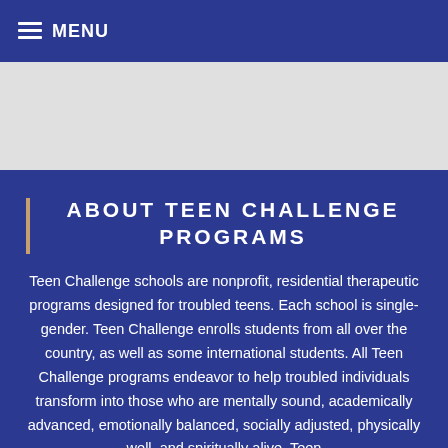MENU
ABOUT TEEN CHALLENGE PROGRAMS
Teen Challenge schools are nonprofit, residential therapeutic programs designed for troubled teens. Each school is single-gender. Teen Challenge enrolls students from all over the country, as well as some international students. All Teen Challenge programs endeavor to help troubled individuals transform into those who are mentally sound, academically advanced, emotionally balanced, socially adjusted, physically well, and spiritually alive. Teen